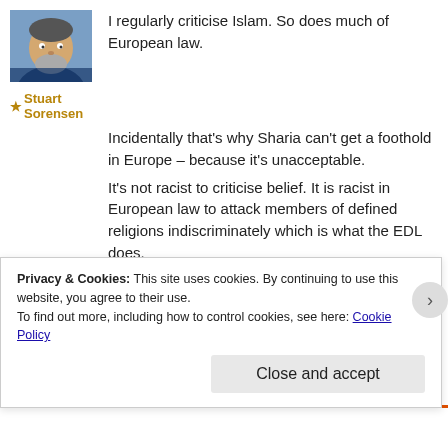[Figure (photo): Profile photo of a middle-aged man with a beard, wearing a dark blue shirt. Square thumbnail image.]
★ Stuart Sorensen
I regularly criticise Islam. So does much of European law.
Incidentally that's why Sharia can't get a foothold in Europe – because it's unacceptable.
It's not racist to criticise belief. It is racist in European law to attack members of defined religions indiscriminately which is what the EDL does.
If you disagree with the subjugation of
Privacy & Cookies: This site uses cookies. By continuing to use this website, you agree to their use.
To find out more, including how to control cookies, see here: Cookie Policy
Close and accept